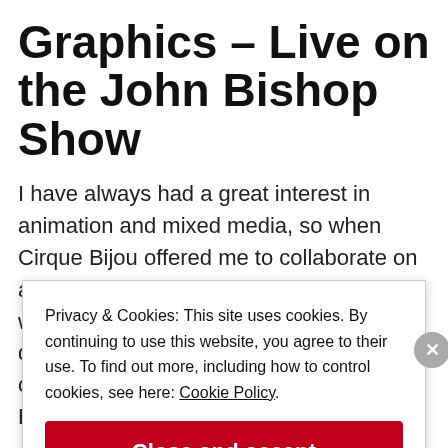Graphics – Live on the John Bishop Show
I have always had a great interest in animation and mixed media, so when Cirque Bijou offered me to collaborate on a bespoke piece that mixed my hoops with Howie Bailey's visual graphics, I dived right into it. The piece was commissioned as an intro to the John Bishop
Privacy & Cookies: This site uses cookies. By continuing to use this website, you agree to their use. To find out more, including how to control cookies, see here: Cookie Policy
Close and accept